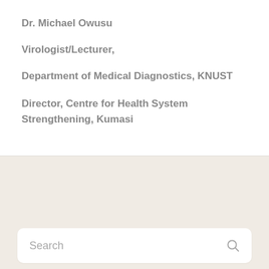Dr. Michael Owusu
Virologist/Lecturer,
Department of Medical Diagnostics, KNUST
Director, Centre for Health System Strengthening, Kumasi
Search